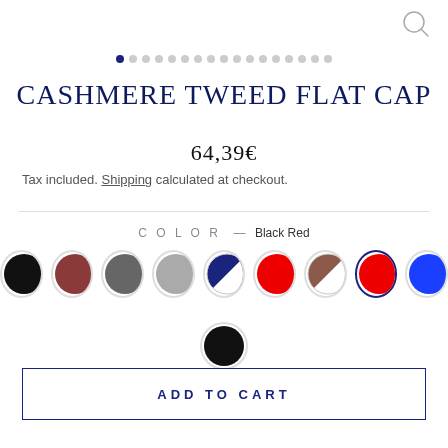[Figure (screenshot): Search magnifier icon top right]
[Figure (other): Carousel navigation dots, first dot active (dark blue), remaining dots light gray]
CASHMERE TWEED FLAT CAP
64,39€
Tax included. Shipping calculated at checkout.
COLOR — Black Red
[Figure (other): Color swatches: black, dark red, dark gray, light gray, blue/white diagonal, red, brown/white diagonal, red (selected with blue border), solid blue, and one more black swatch in second row]
ADD TO CART